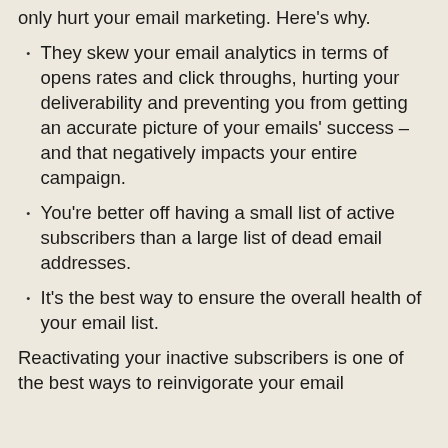only hurt your email marketing. Here's why.
They skew your email analytics in terms of opens rates and click throughs, hurting your deliverability and preventing you from getting an accurate picture of your emails' success – and that negatively impacts your entire campaign.
You're better off having a small list of active subscribers than a large list of dead email addresses.
It's the best way to ensure the overall health of your email list.
Reactivating your inactive subscribers is one of the best ways to reinvigorate your email